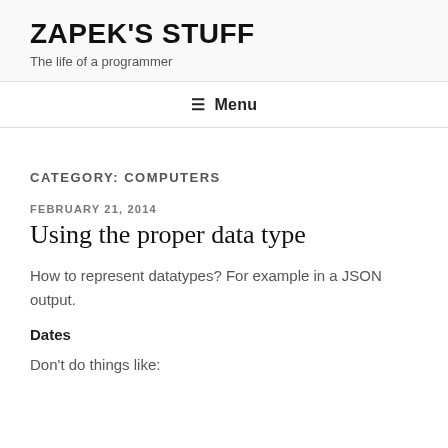ZAPEK'S STUFF
The life of a programmer
☰ Menu
CATEGORY: COMPUTERS
FEBRUARY 21, 2014
Using the proper data type
How to represent datatypes? For example in a JSON output.
Dates
Don't do things like: